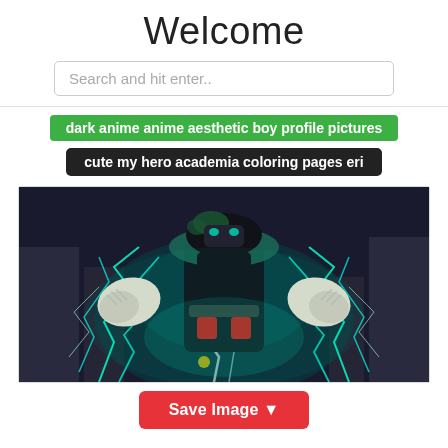Welcome
Search and hit enter..
dark anime anime aesthetic boy profile pictures
cute my hero academia coloring pages eri
[Figure (illustration): Anime character (My Hero Academia / Deku) in dark costume with glowing teal/green electric lightning effects around hands, viewed from below, dramatic perspective.]
Save Image